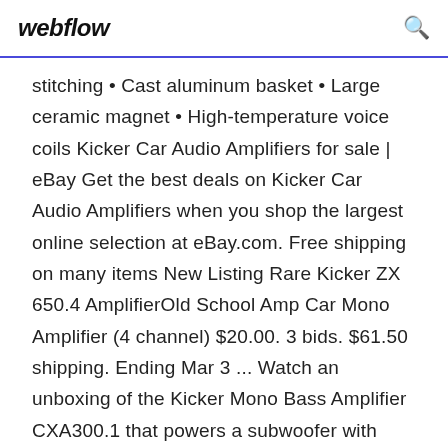webflow
stitching • Cast aluminum basket • Large ceramic magnet • High-temperature voice coils Kicker Car Audio Amplifiers for sale | eBay Get the best deals on Kicker Car Audio Amplifiers when you shop the largest online selection at eBay.com. Free shipping on many items New Listing Rare Kicker ZX 650.4 AmplifierOld School Amp Car Mono Amplifier (4 channel) $20.00. 3 bids. $61.50 shipping. Ending Mar 3 ... Watch an unboxing of the Kicker Mono Bass Amplifier CXA300.1 that powers a subwoofer with 300w RMS @ 2 ohms at a single channel. It doesn't include a bass knKicker x50s Owner's Manual |